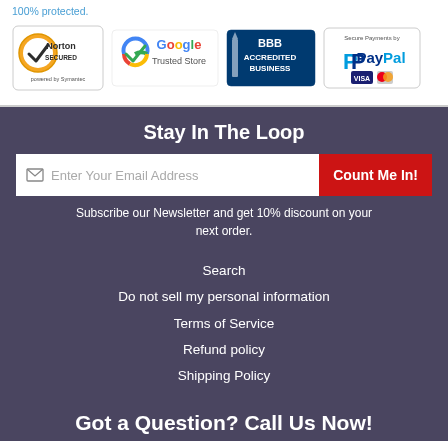100% protected.
[Figure (logo): Norton Secured powered by Symantec badge]
[Figure (logo): Google Trusted Store badge]
[Figure (logo): BBB Accredited Business badge]
[Figure (logo): Secure Payments by PayPal badge]
Stay In The Loop
Subscribe our Newsletter and get 10% discount on your next order.
Search
Do not sell my personal information
Terms of Service
Refund policy
Shipping Policy
Got a Question? Call Us Now!